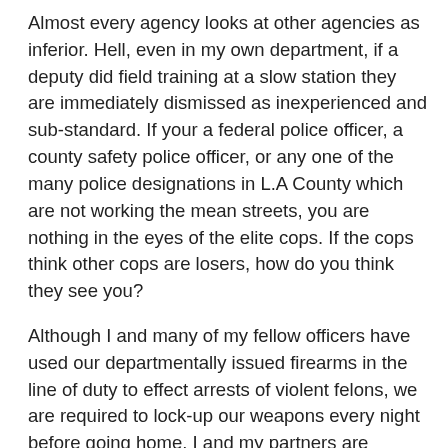Almost every agency looks at other agencies as inferior. Hell, even in my own department, if a deputy did field training at a slow station they are immediately dismissed as inexperienced and sub-standard. If your a federal police officer, a county safety police officer, or any one of the many police designations in L.A County which are not working the mean streets, you are nothing in the eyes of the elite cops. If the cops think other cops are losers, how do you think they see you?
Although I and many of my fellow officers have used our departmentally issued firearms in the line of duty to effect arrests of violent felons, we are required to lock-up our weapons every night before going home. I and my partners are prohibited from carrying concealed weapons off-duty. Most of my fellow officers work in extremely violent neighborhoods, yet we are forced to travel home unprotected. I know exactly how the average citizen in California feels.
Although we have fought for the right to carry concealed we are always denied on the basis that we are not sworn and